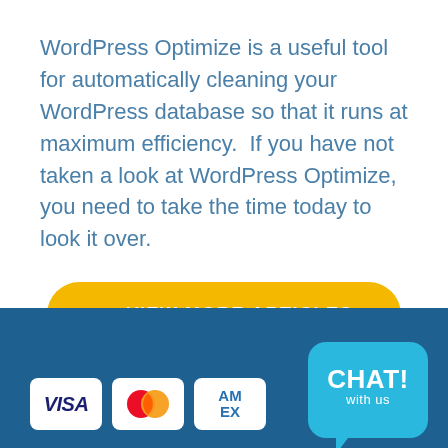WordPress Optimize is a useful tool for automatically cleaning your WordPress database so that it runs at maximum efficiency. If you have not taken a look at WordPress Optimize, you need to take the time today to look it over.
← VIEW MORE ARTICLES
[Figure (infographic): Footer bar with payment icons (VISA, Mastercard, American Express) and a CHAT! with us bubble on a dark blue background]